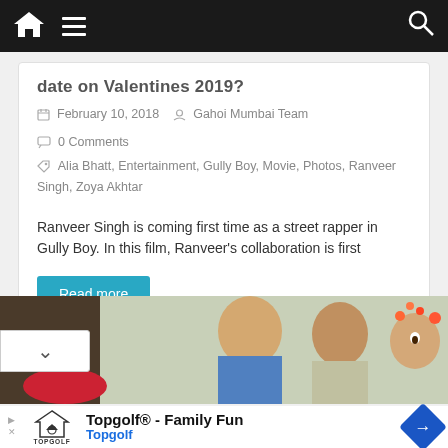Navigation bar with home, menu, and search icons
date on Valentines 2019?
February 10, 2018  Gahoi Mumbai Team  0 Comments
Alia Bhatt, Entertainment, Gully Boy, Movie, Photos, Ranveer Singh, Zoya Akhtar
Ranveer Singh is coming first time as a street rapper in Gully Boy. In this film, Ranveer's collaboration is first
Read more
[Figure (photo): Film still showing actors from Gully Boy movie]
[Figure (infographic): Advertisement for Topgolf - Family Fun with Topgolf logo and navigation icon]